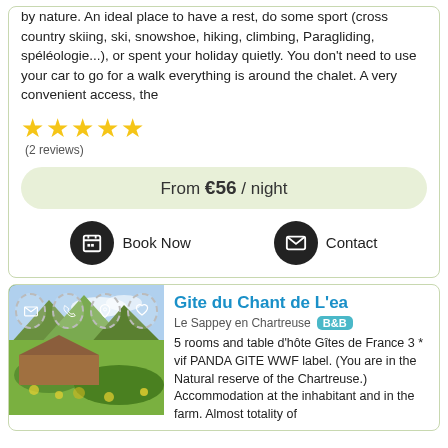by nature. An ideal place to have a rest, do some sport (cross country skiing, ski, snowshoe, hiking, climbing, Paragliding, spéléologie...), or spent your holiday quietly. You don't need to use your car to go for a walk everything is around the chalet. A very convenient access, the
[Figure (other): 5 yellow stars rating]
(2 reviews)
From €56 / night
Book Now
Contact
[Figure (photo): Landscape photo of a farm with green fields and mountains, with dashed circle overlay icons for email, phone, location pin, and heart]
Gite du Chant de L'ea
Le Sappey en Chartreuse  B&B
5 rooms and table d'hôte Gîtes de France 3 * vif PANDA GITE WWF label. (You are in the Natural reserve of the Chartreuse.) Accommodation at the inhabitant and in the farm. Almost totality of